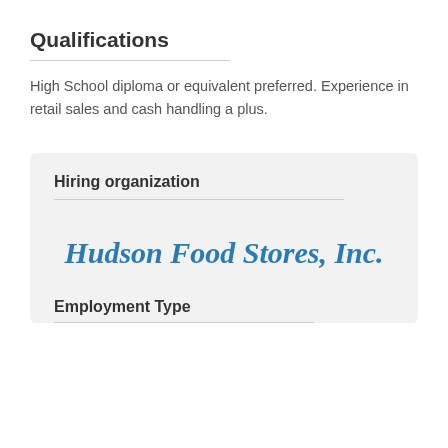Qualifications
High School diploma or equivalent preferred. Experience in retail sales and cash handling a plus.
Hiring organization
[Figure (logo): Hudson Food Stores, Inc. logo in blue italic bold script font]
Employment Type